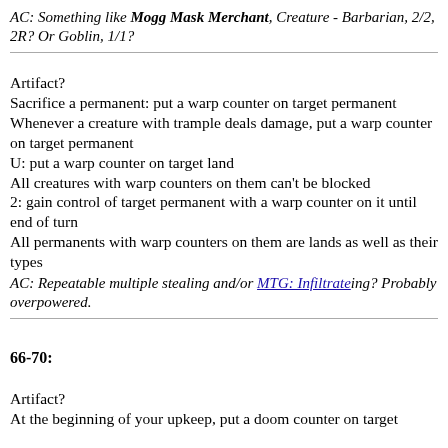AC: Something like Mogg Mask Merchant, Creature - Barbarian, 2/2, 2R? Or Goblin, 1/1?
Artifact?
Sacrifice a permanent: put a warp counter on target permanent
Whenever a creature with trample deals damage, put a warp counter on target permanent
U: put a warp counter on target land
All creatures with warp counters on them can't be blocked
2: gain control of target permanent with a warp counter on it until end of turn
All permanents with warp counters on them are lands as well as their types
AC: Repeatable multiple stealing and/or MTG: Infiltrateing? Probably overpowered.
66-70:
Artifact?
At the beginning of your upkeep, put a doom counter on target